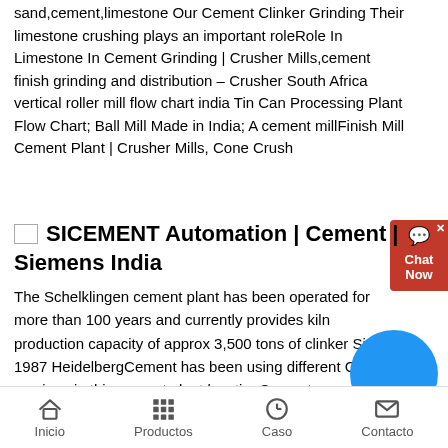sand,cement,limestone Our Cement Clinker Grinding Their limestone crushing plays an important roleRole In Limestone In Cement Grinding | Crusher Mills,cement finish grinding and distribution – Crusher South Africa vertical roller mill flow chart india Tin Can Processing Plant Flow Chart; Ball Mill Made in India; A cement millFinish Mill Cement Plant | Crusher Mills, Cone Crush
[Figure (other): Small broken image placeholder icon]
SICEMENT Automation | Cement | Siemens India
The Schelklingen cement plant has been operated for more than 100 years and currently provides kiln production capacity of approx 3,500 tons of clinker Since 1987 HeidelbergCement has been using different CEMAT versions in this cement plant locationCement manufacturing process with crusher and grinding sale Products As a leading global manufacturer of crushing, grinding and mining equipments, we offer advanced, reasonable solutions for any sizereduction requirements including, Cement
Inicio   Productos   Caso   Contacto